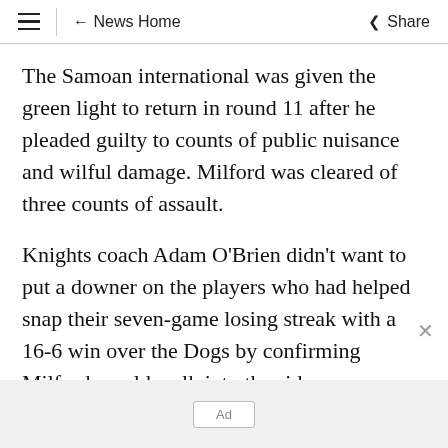≡  ← News Home  Share
The Samoan international was given the green light to return in round 11 after he pleaded guilty to counts of public nuisance and wilful damage. Milford was cleared of three counts of assault.
Knights coach Adam O'Brien didn't want to put a downer on the players who had helped snap their seven-game losing streak with a 16-6 win over the Dogs by confirming Milford would walk into the side.
Ad